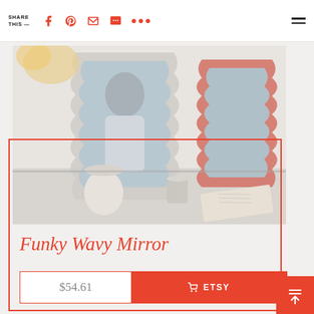SHARE THIS — (social icons: Facebook, Pinterest, Email, Message, More, Menu)
[Figure (photo): Two decorative wavy-frame mirrors on a vanity table: one white and one pink, with a woman reflected in the white mirror wearing a white knit top. A candle jar and open book are visible on the glass table surface. Flowers are in the background.]
Funky Wavy Mirror
$54.61
ETSY